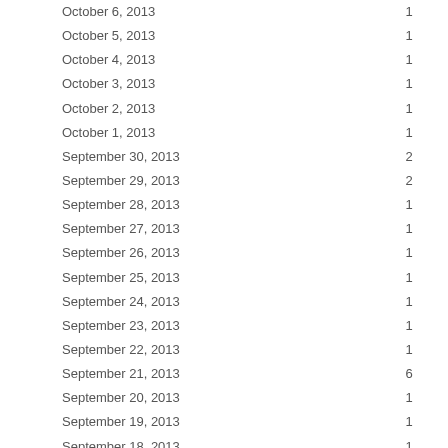| Date | Value |
| --- | --- |
| October 6, 2013 | 1 |
| October 5, 2013 | 1 |
| October 4, 2013 | 1 |
| October 3, 2013 | 1 |
| October 2, 2013 | 1 |
| October 1, 2013 | 1 |
| September 30, 2013 | 2 |
| September 29, 2013 | 2 |
| September 28, 2013 | 1 |
| September 27, 2013 | 1 |
| September 26, 2013 | 1 |
| September 25, 2013 | 1 |
| September 24, 2013 | 1 |
| September 23, 2013 | 1 |
| September 22, 2013 | 1 |
| September 21, 2013 | 6 |
| September 20, 2013 | 1 |
| September 19, 2013 | 1 |
| September 18, 2013 | 1 |
| September 17, 2013 | 1 |
| September 16, 2013 | 1 |
| September 15, 2013 | 9 |
| September 14, 2013 | 6 |